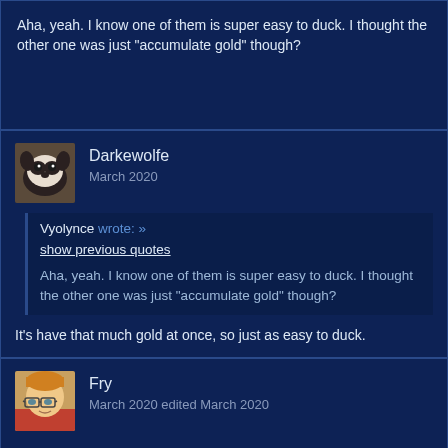Aha, yeah. I know one of them is super easy to duck. I thought the other one was just "accumulate gold" though?
Darkewolfe
March 2020

Vyolynce wrote: »
show previous quotes

Aha, yeah. I know one of them is super easy to duck. I thought the other one was just "accumulate gold" though?

It's have that much gold at once, so just as easy to duck.
Fry
March 2020 edited March 2020